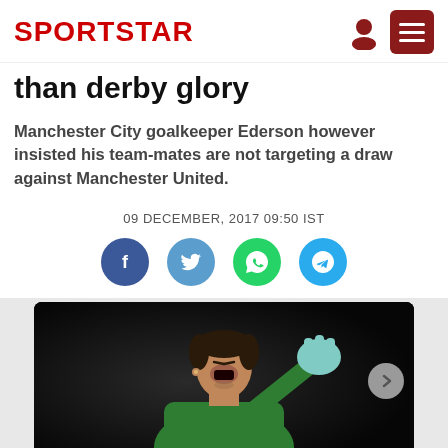SPORTSTAR
than derby glory
Manchester City goalkeeper Ederson however insisted his team-mates are not targeting a draw against Manchester United.
09 DECEMBER, 2017 09:50 IST
[Figure (other): Social share buttons: Facebook (blue circle), Twitter (light blue circle), WhatsApp (green circle), Telegram (blue circle)]
[Figure (photo): Manchester City goalkeeper Ederson celebrating, wearing green goalkeeper kit, mouth open in celebration, raising gloved fist]